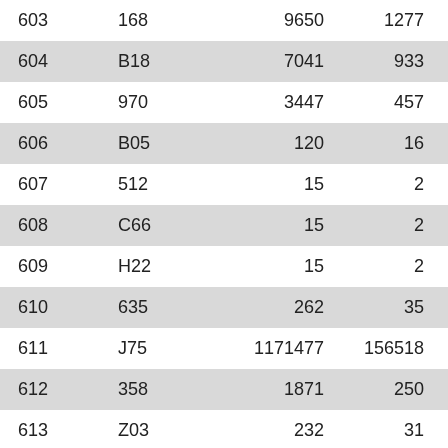| 603 | 168 | 9650 | 1277 | 7.56 |
| 604 | B18 | 7041 | 933 | 7.55 |
| 605 | 970 | 3447 | 457 | 7.54 |
| 606 | B05 | 120 | 16 | 7.50 |
| 607 | 512 | 15 | 2 | 7.50 |
| 608 | C66 | 15 | 2 | 7.50 |
| 609 | H22 | 15 | 2 | 7.50 |
| 610 | 635 | 262 | 35 | 7.49 |
| 611 | J75 | 1171477 | 156518 | 7.48 |
| 612 | 358 | 1871 | 250 | 7.48 |
| 613 | Z03 | 232 | 31 | 7.48 |